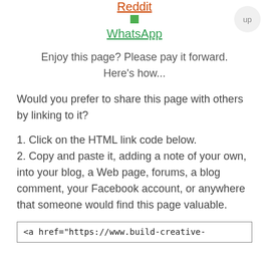Reddit
[Figure (other): Small green icon/image]
WhatsApp
Enjoy this page? Please pay it forward. Here's how...
Would you prefer to share this page with others by linking to it?
1. Click on the HTML link code below.
2. Copy and paste it, adding a note of your own, into your blog, a Web page, forums, a blog comment, your Facebook account, or anywhere that someone would find this page valuable.
<a href="https://www.build-creative-